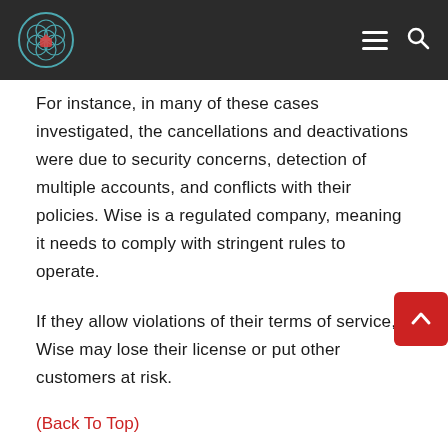[Logo] [hamburger menu] [search]
For instance, in many of these cases investigated, the cancellations and deactivations were due to security concerns, detection of multiple accounts, and conflicts with their policies. Wise is a regulated company, meaning it needs to comply with stringent rules to operate.
If they allow violations of their terms of service, Wise may lose their license or put other customers at risk.
(Back To Top)